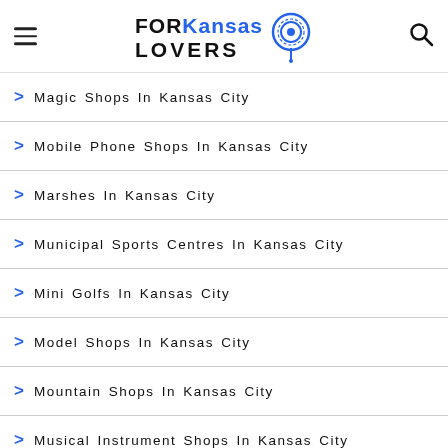FOR Kansas LOVERS
Magic Shops In Kansas City
Mobile Phone Shops In Kansas City
Marshes In Kansas City
Municipal Sports Centres In Kansas City
Mini Golfs In Kansas City
Model Shops In Kansas City
Mountain Shops In Kansas City
Musical Instrument Shops In Kansas City
Manga Shops In Kansas City